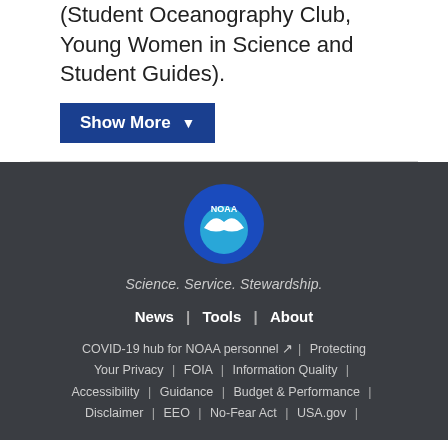(Student Oceanography Club, Young Women in Science and Student Guides).
Show More ▼
[Figure (logo): NOAA circular logo with bird and blue background, text 'NOAA']
Science. Service. Stewardship.
News | Tools | About | COVID-19 hub for NOAA personnel | Protecting Your Privacy | FOIA | Information Quality | Accessibility | Guidance | Budget & Performance | Disclaimer | EEO | No-Fear Act | USA.gov |